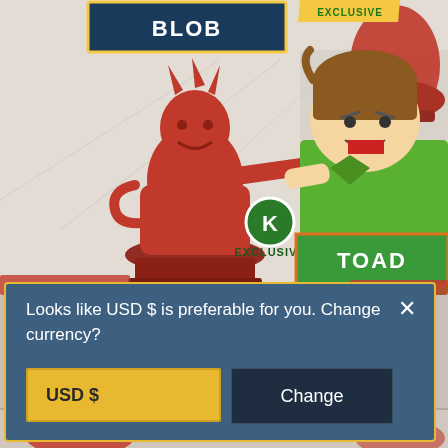[Figure (illustration): Kickstarter board game campaign page showing two exclusive miniature figurines. Top area shows a dark blue banner labeled BLOB with a yellow border (Kickstarter exclusive), and a red sculpted miniature of a monster character in the lower-left. A cartoon character named TOAD (green outfit, brown hair) is depicted in anime/comic art style on the right side. A green banner with orange border reads TOAD. A Kickstarter K-logo badge says EXCLUSIVE. Partial red figurines are visible at top-right and bottom of frame.]
[Figure (screenshot): Modal dialog popup with steel-blue background and gold/yellow border. Text reads: 'Looks like USD $ is preferable for you. Change currency?' with an X close button. Two buttons below: yellow 'USD $' button and dark navy 'Change' button.]
Looks like USD $ is preferable for you. Change currency?